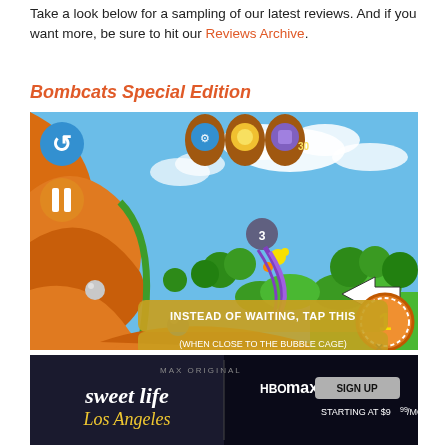Take a look below for a sampling of our latest reviews. And if you want more, be sure to hit our Reviews Archive.
Bombcats Special Edition
[Figure (screenshot): Screenshot of Bombcats Special Edition mobile game showing colorful cartoon landscape with orange and green terrain, blue sky with clouds, a cat being launched, and tutorial text reading 'INSTEAD OF WAITING, TAP THIS (WHEN CLOSE TO THE BUBBLE CAGE)']
[Figure (illustration): HBO Max advertisement banner for 'Sweet Life: Los Angeles' with text 'sweet life Los Angeles', HBO Max logo, and 'SIGN UP STARTING AT $9.99/MONTH']